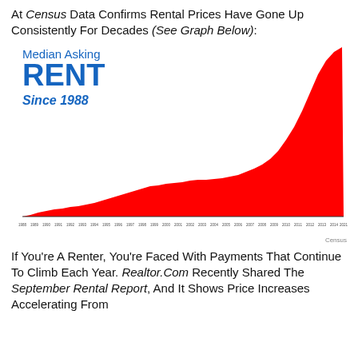At Census Data Confirms Rental Prices Have Gone Up Consistently For Decades (See Graph Below):
[Figure (area-chart): Red area chart showing median asking rent rising consistently from 1988 to 2021, with a steep increase in recent years.]
Census
If You're A Renter, You're Faced With Payments That Continue To Climb Each Year. Realtor.Com Recently Shared The September Rental Report, And It Shows Price Increases Accelerating From